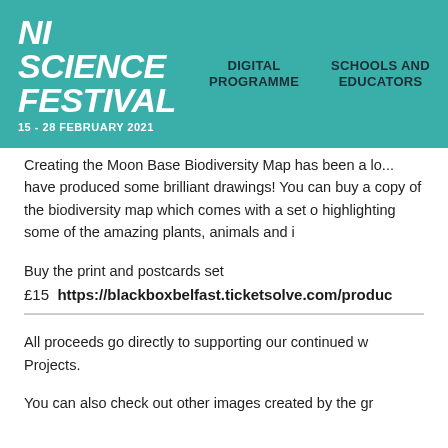NI SCIENCE FESTIVAL 15 - 28 FEBRUARY 2021 | DIGITAL PROGRAMME | SCHOOLS AND EDUCATORS
Creating the Moon Base Biodiversity Map has been a lo... have produced some brilliant drawings! You can buy a... copy of the biodiversity map which comes with a set o... highlighting some of the amazing plants, animals and i...
Buy the print and postcards set
£15  https://blackboxbelfast.ticketsolve.com/produc...
All proceeds go directly to supporting our continued w... Projects.
You can also check out other images created by the gr...